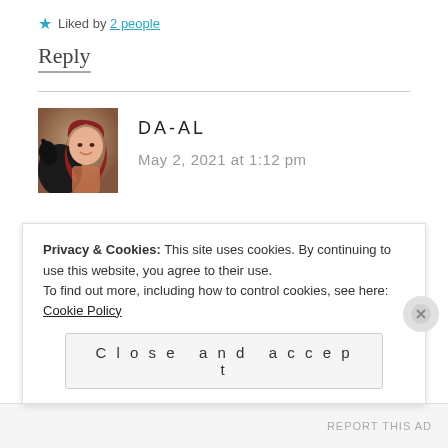★ Liked by 2 people
Reply
DA-AL
May 2, 2021 at 1:12 pm
[Figure (photo): Avatar photo of DA-AL: woman with red hair holding a dark dog]
beautiful post – indeed, I'm not sure how to take it when people wish me a happy mother's d...
Privacy & Cookies: This site uses cookies. By continuing to use this website, you agree to their use. To find out more, including how to control cookies, see here: Cookie Policy
Close and accept
REPORT THIS AD